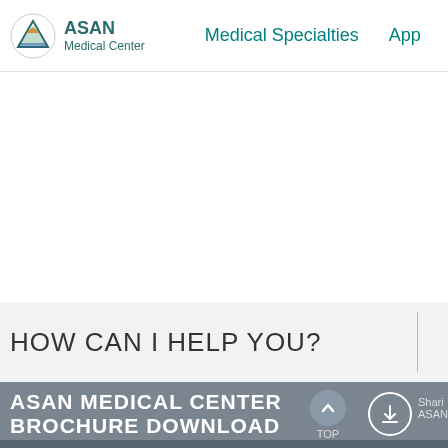ASAN Medical Center | Medical Specialties | App
Institution
HOW CAN I HELP YOU?
ASAN MEDICAL CENTER BROCHURE DOWNLOAD
TOP
Sharing ASAN